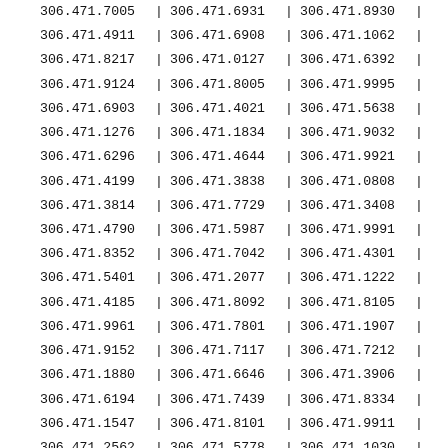| 306.471.7005 | | | 306.471.6931 | | | 306.471.8930 | | |
| 306.471.4911 | | | 306.471.6908 | | | 306.471.1062 | | |
| 306.471.8217 | | | 306.471.0127 | | | 306.471.6392 | | |
| 306.471.9124 | | | 306.471.8005 | | | 306.471.9995 | | |
| 306.471.6903 | | | 306.471.4021 | | | 306.471.5638 | | |
| 306.471.1276 | | | 306.471.1834 | | | 306.471.9032 | | |
| 306.471.6296 | | | 306.471.4644 | | | 306.471.9921 | | |
| 306.471.4199 | | | 306.471.3838 | | | 306.471.0808 | | |
| 306.471.3814 | | | 306.471.7729 | | | 306.471.3408 | | |
| 306.471.4790 | | | 306.471.5987 | | | 306.471.9991 | | |
| 306.471.8352 | | | 306.471.7042 | | | 306.471.4301 | | |
| 306.471.5401 | | | 306.471.2077 | | | 306.471.1222 | | |
| 306.471.4185 | | | 306.471.8092 | | | 306.471.8105 | | |
| 306.471.9961 | | | 306.471.7801 | | | 306.471.1907 | | |
| 306.471.9152 | | | 306.471.7117 | | | 306.471.7212 | | |
| 306.471.1880 | | | 306.471.6646 | | | 306.471.3906 | | |
| 306.471.6194 | | | 306.471.7439 | | | 306.471.8334 | | |
| 306.471.1547 | | | 306.471.8101 | | | 306.471.9911 | | |
| 306.471.2562 | | | 306.471.5778 | | | 306.471.1030 | | |